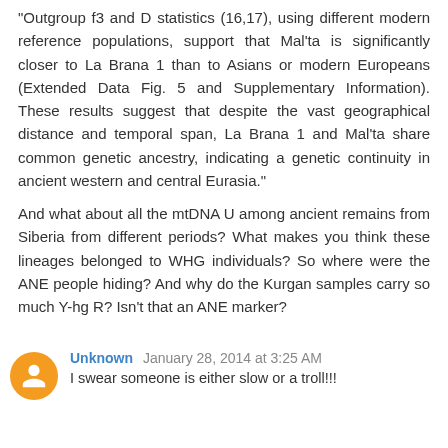"Outgroup f3 and D statistics (16,17), using different modern reference populations, support that Mal'ta is significantly closer to La Brana 1 than to Asians or modern Europeans (Extended Data Fig. 5 and Supplementary Information). These results suggest that despite the vast geographical distance and temporal span, La Brana 1 and Mal'ta share common genetic ancestry, indicating a genetic continuity in ancient western and central Eurasia."
And what about all the mtDNA U among ancient remains from Siberia from different periods? What makes you think these lineages belonged to WHG individuals? So where were the ANE people hiding? And why do the Kurgan samples carry so much Y-hg R? Isn't that an ANE marker?
Unknown  January 28, 2014 at 3:25 AM
I swear someone is either slow or a troll!!!